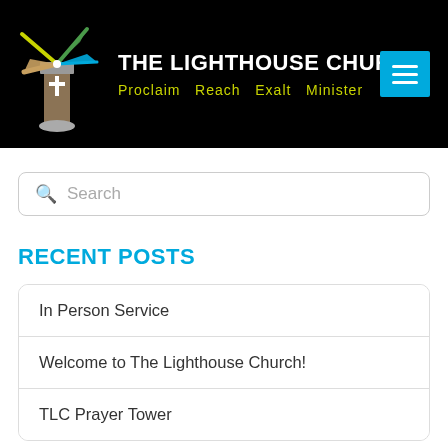[Figure (logo): The Lighthouse Church logo with lighthouse/windmill graphic, church name, and tagline 'Proclaim Reach Exalt Minister' on black background]
[Figure (screenshot): Search box with magnifying glass icon and placeholder text 'Search']
RECENT POSTS
In Person Service
Welcome to The Lighthouse Church!
TLC Prayer Tower